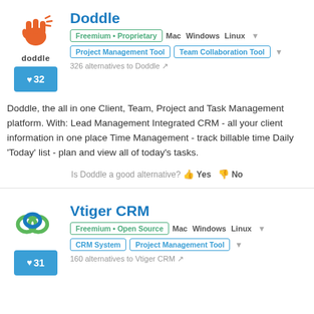[Figure (logo): Doddle app logo - orange hand with snap gesture, text 'doddle' below]
Doddle
Freemium • Proprietary  Mac  Windows  Linux
Project Management Tool  Team Collaboration Tool
326 alternatives to Doddle
Doddle, the all in one Client, Team, Project and Task Management platform. With: Lead Management Integrated CRM - all your client information in one place Time Management - track billable time Daily 'Today' list - plan and view all of today's tasks.
Is Doddle a good alternative? Yes  No
[Figure (logo): Vtiger CRM logo - blue and green cloud/infinity shapes]
Vtiger CRM
Freemium • Open Source  Mac  Windows  Linux
CRM System  Project Management Tool
160 alternatives to Vtiger CRM